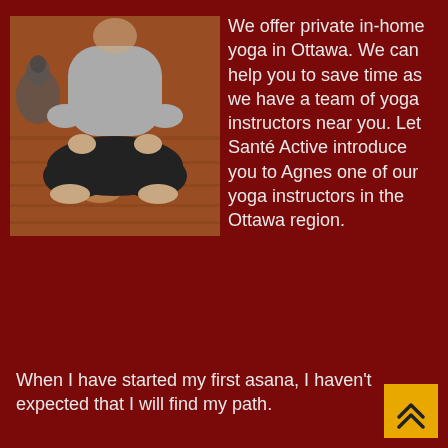[Figure (photo): Person sitting cross-legged in yoga/meditation pose on a wooden floor, wearing grey top and black pants, with a Buddha statue in the background]
We offer private in-home yoga in Ottawa. We can help you to save time as we have a team of yoga instructors near you. Let Santé Active introduce you to Agnes one of our yoga instructors in the Ottawa region.
When I have started my first asana, I haven't expected that I will find my path.